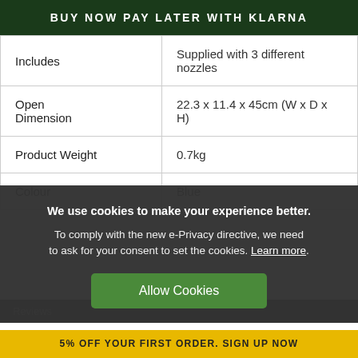BUY NOW PAY LATER WITH KLARNA
| Includes | Supplied with 3 different nozzles |
| Open Dimension | 22.3 x 11.4 x 45cm (W x D x H) |
| Product Weight | 0.7kg |
| Colour | Blue |
We use cookies to make your experience better. To comply with the new e-Privacy directive, we need to ask for your consent to set the cookies. Learn more.
Allow Cookies
Reviews
5% OFF YOUR FIRST ORDER. SIGN UP NOW